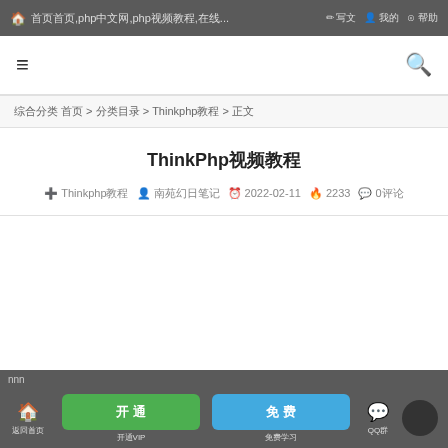首页 首页,php中文网,php视频教程,在线... 写文 我的 登录 帮助中心
≡  🔍
综合分类 首页 > 分类目录 > Thinkphp教程 > 正文
ThinkPhp视频教程
+ Thinkphp教程  👤 南苑幻日笔记  ⏱ 2022-02-11  🔥 2233  💬 0评论
nnn
🏠 返回首页  开通VIP  开通VIP  免费学习  QQ群